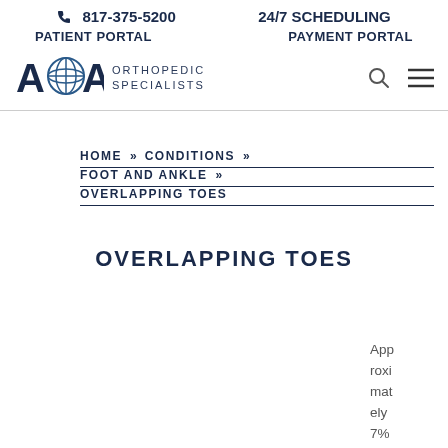📞 817-375-5200   24/7 SCHEDULING
PATIENT PORTAL   PAYMENT PORTAL
[Figure (logo): AOA Orthopedic Specialists logo with globe icon]
HOME » CONDITIONS » FOOT AND ANKLE » OVERLAPPING TOES
OVERLAPPING TOES
Approximately 7% of